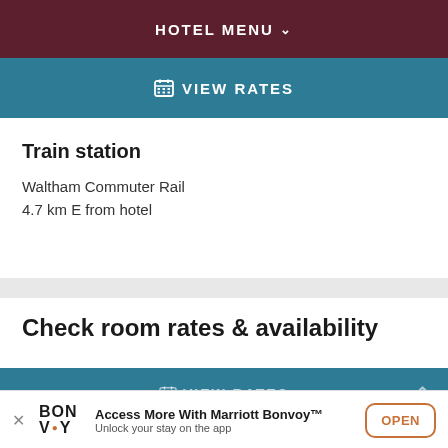HOTEL MENU
VIEW RATES
Train station
Waltham Commuter Rail
4.7 km E from hotel
Check room rates & availability
VIEW RATES
Access More With Marriott Bonvoy™
Unlock your stay on the app